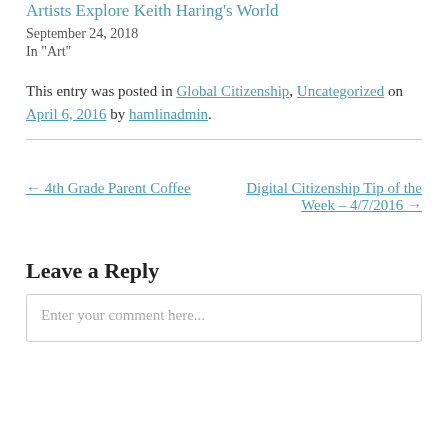Artists Explore Keith Haring's World
September 24, 2018
In "Art"
This entry was posted in Global Citizenship, Uncategorized on April 6, 2016 by hamlinadmin.
← 4th Grade Parent Coffee
Digital Citizenship Tip of the Week – 4/7/2016 →
Leave a Reply
Enter your comment here...